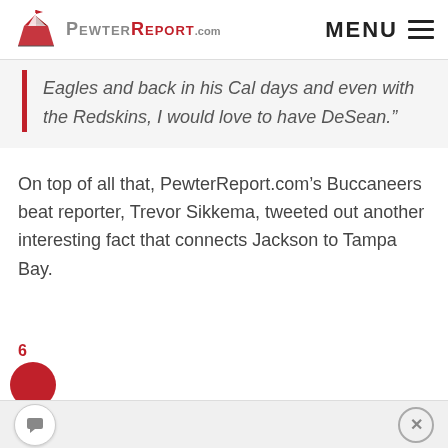PewterReport.com | MENU
Eagles and back in his Cal days and even with the Redskins, I would love to have DeSean.”
On top of all that, PewterReport.com’s Buccaneers beat reporter, Trevor Sikkema, tweeted out another interesting fact that connects Jackson to Tampa Bay.
6